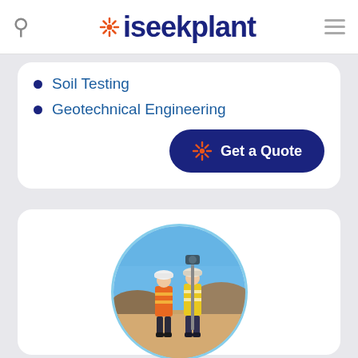iseekplant
Soil Testing
Geotechnical Engineering
Get a Quote
[Figure (photo): Two workers in high-visibility gear at an outdoor construction/survey site in arid terrain, one holding a surveying pole/instrument]
Fyfe
Verified